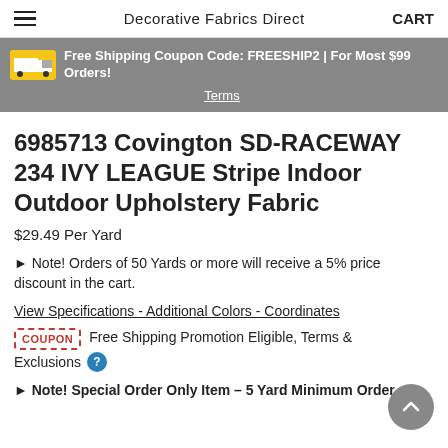Decorative Fabrics Direct  CART
Free Shipping Coupon Code: FREESHIP2 | For Most $99 Orders! Terms
6985713 Covington SD-RACEWAY 234 IVY LEAGUE Stripe Indoor Outdoor Upholstery Fabric
$29.49 Per Yard
► Note! Orders of 50 Yards or more will receive a 5% price discount in the cart.
View Specifications - Additional Colors - Coordinates
COUPON  Free Shipping Promotion Eligible, Terms & Exclusions
► Note! Special Order Only Item – 5 Yard Minimum Order